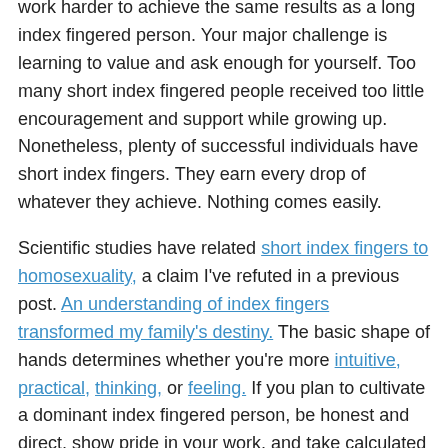work harder to achieve the same results as a long index fingered person. Your major challenge is learning to value and ask enough for yourself. Too many short index fingered people received too little encouragement and support while growing up. Nonetheless, plenty of successful individuals have short index fingers. They earn every drop of whatever they achieve. Nothing comes easily.
Scientific studies have related short index fingers to homosexuality, a claim I've refuted in a previous post. An understanding of index fingers transformed my family's destiny. The basic shape of hands determines whether you're more intuitive, practical, thinking, or feeling. If you plan to cultivate a dominant index fingered person, be honest and direct, show pride in your work, and take calculated risks. Many strong index fingered people become successful managers, journalists, judges, lawyers, politicians, singers (instrument is voice), producers, promoters, priests, chefs, speakers, and salespeople.